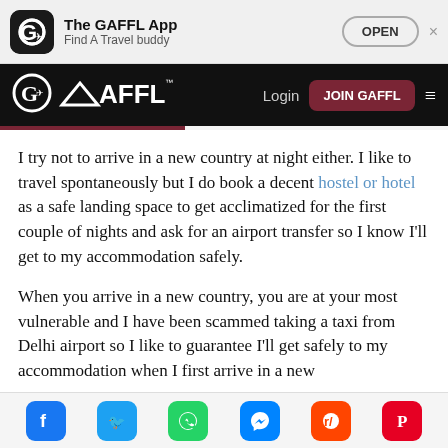[Figure (screenshot): App install banner for The GAFFL App with icon, name, tagline 'Find A Travel buddy', OPEN button, and close X]
The GAFFL App | Find A Travel buddy | OPEN | Login | JOIN GAFFL
I try not to arrive in a new country at night either. I like to travel spontaneously but I do book a decent hostel or hotel as a safe landing space to get acclimatized for the first couple of nights and ask for an airport transfer so I know I'll get to my accommodation safely.
When you arrive in a new country, you are at your most vulnerable and I have been scammed taking a taxi from Delhi airport so I like to guarantee I'll get safely to my accommodation when I first arrive in a new
[Figure (screenshot): Social sharing icons: Facebook, Twitter, WhatsApp, Messenger, Reddit, Pinterest]